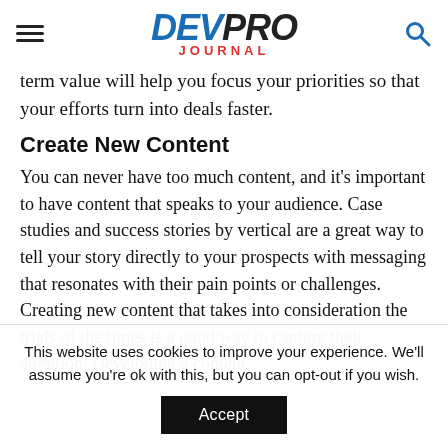DEV PRO JOURNAL
term value will help you focus your priorities so that your efforts turn into deals faster.
Create New Content
You can never have too much content, and it's important to have content that speaks to your audience. Case studies and success stories by vertical are a great way to tell your story directly to your prospects with messaging that resonates with their pain points or challenges. Creating new content that takes into consideration the trials of the times is a good way to capture their attention. Developing a content
This website uses cookies to improve your experience. We'll assume you're ok with this, but you can opt-out if you wish.
Accept